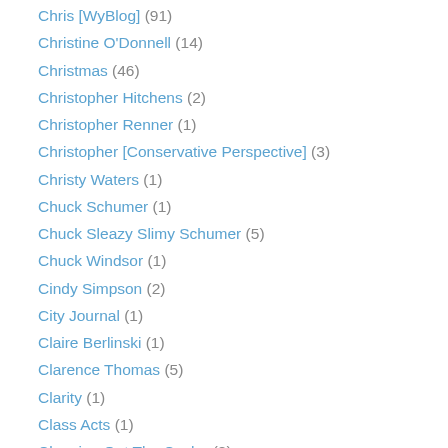Chris [WyBlog] (91)
Christine O'Donnell (14)
Christmas (46)
Christopher Hitchens (2)
Christopher Renner (1)
Christopher [Conservative Perspective] (3)
Christy Waters (1)
Chuck Schumer (1)
Chuck Sleazy Slimy Schumer (5)
Chuck Windsor (1)
Cindy Simpson (2)
City Journal (1)
Claire Berlinski (1)
Clarence Thomas (5)
Clarity (1)
Class Acts (1)
Cleaning Out The Cache (8)
Clifton B. (18)
Climate (35)
Club For Growth (1)